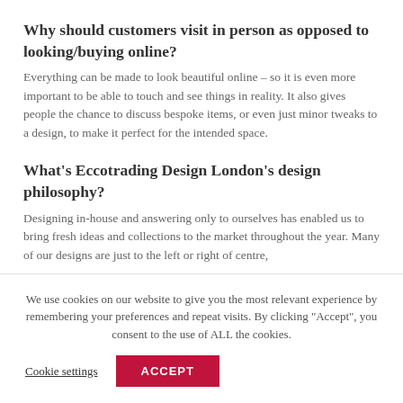Why should customers visit in person as opposed to looking/buying online?
Everything can be made to look beautiful online – so it is even more important to be able to touch and see things in reality. It also gives people the chance to discuss bespoke items, or even just minor tweaks to a design, to make it perfect for the intended space.
What's Eccotrading Design London's design philosophy?
Designing in-house and answering only to ourselves has enabled us to bring fresh ideas and collections to the market throughout the year. Many of our designs are just to the left or right of centre,
We use cookies on our website to give you the most relevant experience by remembering your preferences and repeat visits. By clicking "Accept", you consent to the use of ALL the cookies.